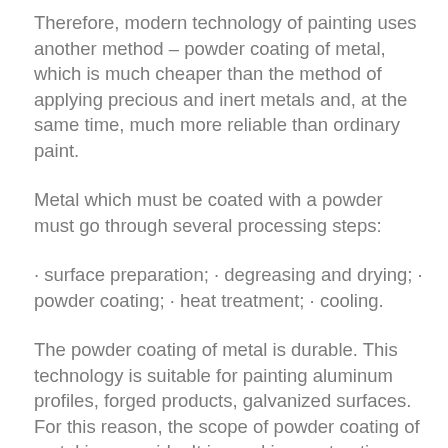Therefore, modern technology of painting uses another method – powder coating of metal, which is much cheaper than the method of applying precious and inert metals and, at the same time, much more reliable than ordinary paint.
Metal which must be coated with a powder must go through several processing steps:
· surface preparation; · degreasing and drying; · powder coating; · heat treatment; · cooling.
The powder coating of metal is durable. This technology is suitable for painting aluminum profiles, forged products, galvanized surfaces. For this reason, the scope of powder coating of metal is very wide. It is used in construction, agricultural engineering, automotive industry, architecture, in